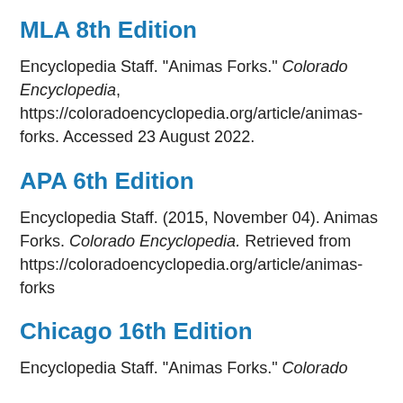MLA 8th Edition
Encyclopedia Staff. "Animas Forks." Colorado Encyclopedia, https://coloradoencyclopedia.org/article/animas-forks. Accessed 23 August 2022.
APA 6th Edition
Encyclopedia Staff. (2015, November 04). Animas Forks. Colorado Encyclopedia. Retrieved from https://coloradoencyclopedia.org/article/animas-forks
Chicago 16th Edition
Encyclopedia Staff. "Animas Forks." Colorado